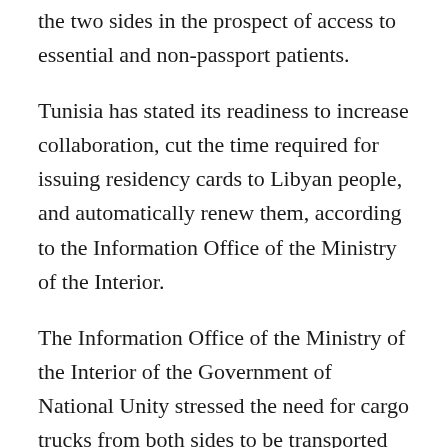the two sides in the prospect of access to essential and non-passport patients.
Tunisia has stated its readiness to increase collaboration, cut the time required for issuing residency cards to Libyan people, and automatically renew them, according to the Information Office of the Ministry of the Interior.
The Information Office of the Ministry of the Interior of the Government of National Unity stressed the need for cargo trucks from both sides to be transported quickly.
The meeting saw the signing of a security